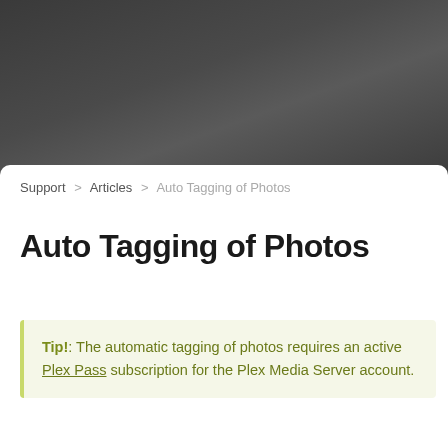[Figure (photo): Dark gray gradient header background area]
Support > Articles > Auto Tagging of Photos
Auto Tagging of Photos
Tip!: The automatic tagging of photos requires an active Plex Pass subscription for the Plex Media Server account.